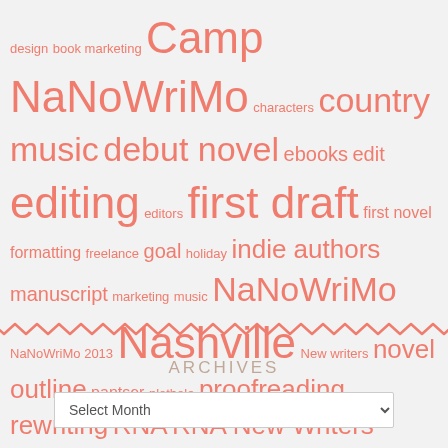design book marketing Camp NaNoWriMo characters country music debut novel ebooks edit editing editors first draft first novel formatting freelance goal holiday indie authors manuscript marketing music NaNoWriMo NaNoWriMo 2013 Nashville New writers novel outline pantser plothole proofreading rewriting RNA RNA New Writers' Scheme romance Scrivener self-publishing synopsis Word count writing Writing conferences writing courses
[Figure (illustration): Zigzag/wavy decorative divider line in salmon/coral color]
ARCHIVES
Select Month (dropdown)